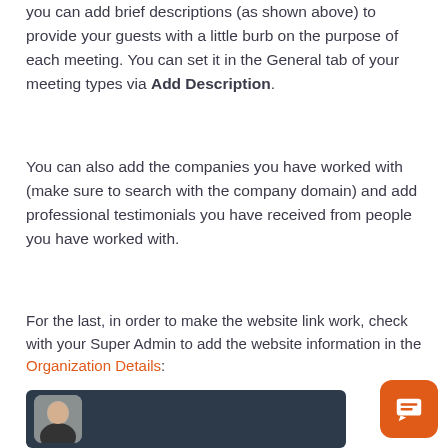you can add brief descriptions (as shown above) to provide your guests with a little burb on the purpose of each meeting. You can set it in the General tab of your meeting types via Add Description.
You can also add the companies you have worked with (make sure to search with the company domain) and add professional testimonials you have received from people you have worked with.
For the last, in order to make the website link work, check with your Super Admin to add the website information in the Organization Details:
[Figure (screenshot): Screenshot showing a dark background UI panel with a person's photo (young man in black shirt) displayed in a rounded rectangle card.]